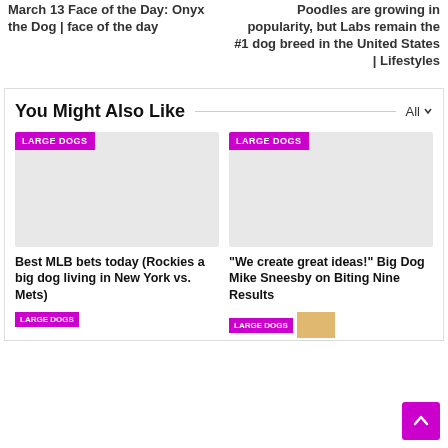March 13 Face of the Day: Onyx the Dog | face of the day
Poodles are growing in popularity, but Labs remain the #1 dog breed in the United States | Lifestyles
You Might Also Like
[Figure (photo): Placeholder image with LARGE DOGS tag for article: Best MLB bets today (Rockies a big dog living in New York vs. Mets)]
[Figure (photo): Placeholder image with LARGE DOGS tag for article: "We create great ideas!" Big Dog Mike Sneesby on Biting Nine Results]
Best MLB bets today (Rockies a big dog living in New York vs. Mets)
“We create great ideas!” Big Dog Mike Sneesby on Biting Nine Results
[Figure (photo): Bottom card with LARGE DOGS tag (left)]
[Figure (photo): Bottom card with LARGE DOGS tag and thumbnail (right)]